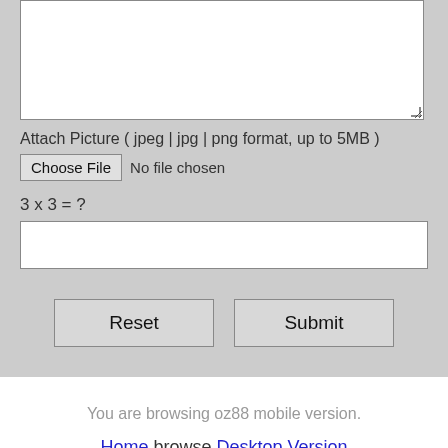[Figure (screenshot): Textarea input field with resize handle, partial view at top of page]
Attach Picture ( jpeg | jpg | png format, up to 5MB )
Choose File  No file chosen
3 x 3 = ?
[Figure (screenshot): Text input field for captcha answer]
Reset  Submit
You are browsing oz88 mobile version.
Home browse Desktop Version
Advertising  About Us  Contact Us
Submit a Free Listing  Business Login